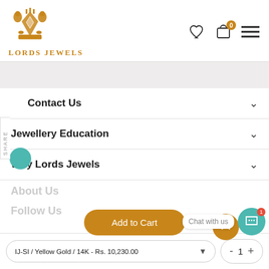Lords Jewels
Contact Us
Jewellery Education
Why Lords Jewels
About Us
Follow Us
IJ-SI / Yellow Gold / 14K - Rs. 10,230.00
- 1 +
Add to Cart
Chat with us